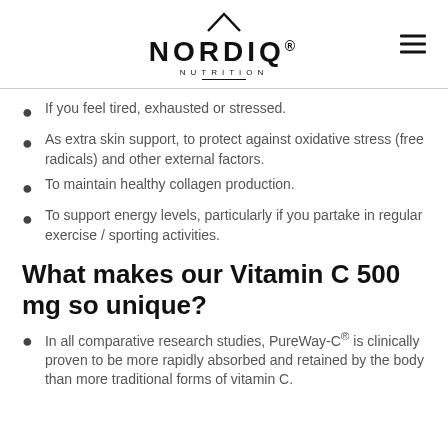NORDIQ® NUTRITION
If you feel tired, exhausted or stressed.
As extra skin support, to protect against oxidative stress (free radicals) and other external factors.
To maintain healthy collagen production.
To support energy levels, particularly if you partake in regular exercise / sporting activities.
What makes our Vitamin C 500 mg so unique?
In all comparative research studies, PureWay-C® is clinically proven to be more rapidly absorbed and retained by the body than more traditional forms of vitamin C.